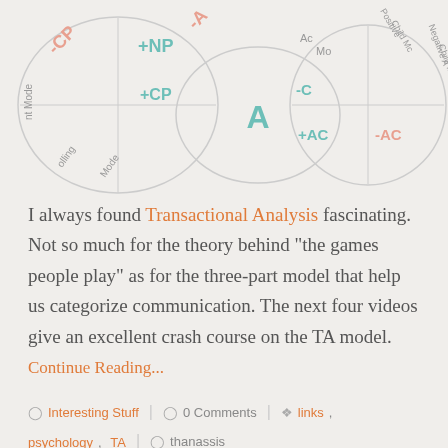[Figure (illustration): Transactional Analysis ego state diagram showing overlapping circles labeled with CP, -CP, +NP, A, AC, +AC, -AC and modes like Positive Child Mode, Negative Child Mode, Nurturing, Controlling. Text labels in salmon/red and teal/green colors.]
I always found Transactional Analysis fascinating. Not so much for the theory behind “the games people play” as for the three-part model that help us categorize communication. The next four videos give an excellent crash course on the TA model.
Continue Reading...
Interesting Stuff | 0 Comments | links, psychology, TA | thanassis